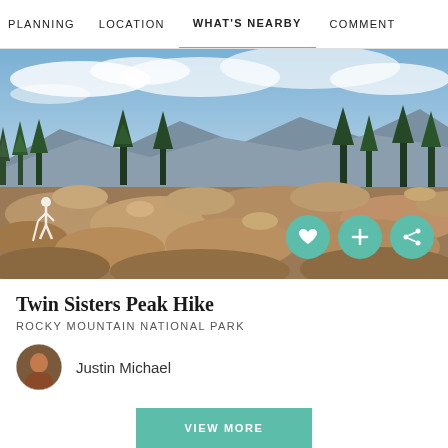PLANNING   LOCATION   WHAT'S NEARBY   COMMENTS
[Figure (photo): Panoramic mountain landscape with rocky terrain in foreground, evergreen pine trees in middle ground, distant mountain ranges and dramatic cloudy sky. Hiker icon in bottom left, three circular action buttons (heart, plus, share) in bottom right.]
Twin Sisters Peak Hike
ROCKY MOUNTAIN NATIONAL PARK
Justin Michael
VIEW MORE